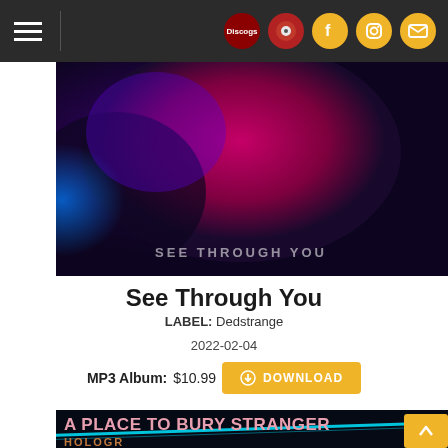Navigation bar with hamburger menu, Discogs icon, social icons (Facebook, Instagram, Email)
[Figure (photo): Album cover for 'See Through You' — dark blue and magenta/pink blurred abstract image with text 'SEE THROUGH YOU' in the lower right]
See Through You
LABEL: Dedstrange
2022-02-04
MP3 Album: $10.99  DOWNLOAD
[Figure (photo): Partial banner image for 'A Place to Bury Strangers - Hologram' with cyan glowing lines on dark background and pink/peach large text]